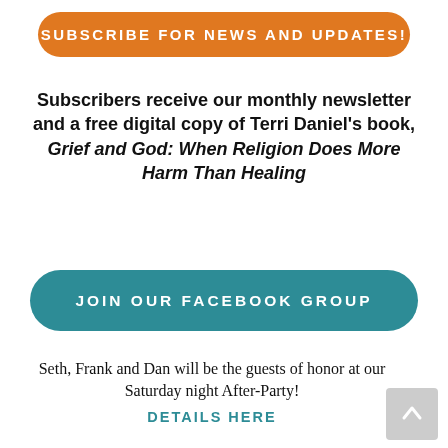SUBSCRIBE FOR NEWS AND UPDATES!
Subscribers receive our monthly newsletter and a free digital copy of Terri Daniel's book, Grief and God: When Religion Does More Harm Than Healing
JOIN OUR FACEBOOK GROUP
Seth, Frank and Dan will be the guests of honor at our Saturday night After-Party!
DETAILS HERE